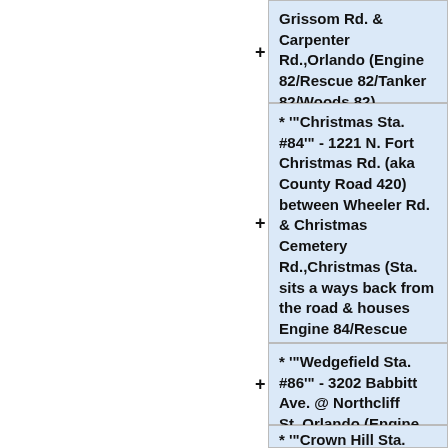Grissom Rd. & Carpenter Rd.,Orlando (Engine 82/Rescue 82/Tanker 82/Woods 82)
* """Christmas Sta. #84""" - 1221 N. Fort Christmas Rd. (aka County Road 420) between Wheeler Rd. & Christmas Cemetery Rd.,Christmas (Sta. sits a ways back from the road & houses Engine 84/Rescue 84/Tanker 84/Woods 84/Airboat 1)
* """Wedgefield Sta. #86""" - 3202 Babbitt Ave. @ Northcliff St.,Orlando (Engine 86/Woods 86)
* """Crown Hill Sta. #87""" -